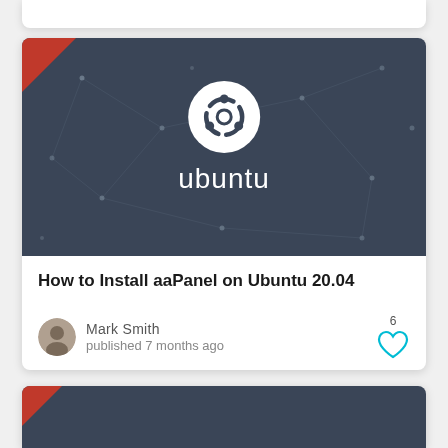[Figure (screenshot): Ubuntu logo on dark blue-grey background with dot network pattern and red corner accent]
How to Install aaPanel on Ubuntu 20.04
Mark Smith
published 7 months ago